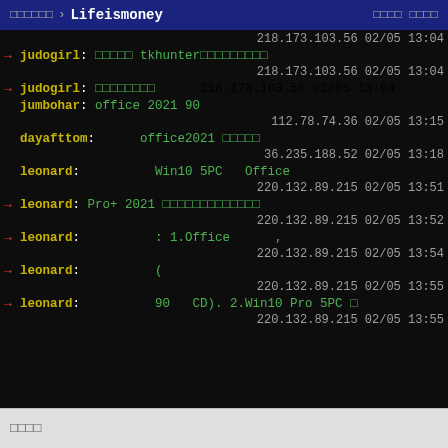□□□□□□ › Lifeismoney   □□□□ □□□□
218.173.103.56 02/05 13:04
→ judogirl: □□□□□ tkhunter□□□□□□□□□
218.173.103.56 02/05 13:04
→ judogirl: □□□□□□□□   218.173.103.56 02/05 13:04
jumbohar: office 2021 90
112.78.74.36 02/05 13:15
dayafttom:     office2021 □□□□□
36.235.188.52 02/05 13:18
leonard:         Win10 5PC   Office
220.132.89.215 02/05 13:51
→ leonard: Pro+ 2021 □□□□□□□□□□□□□
220.132.89.215 02/05 13:52
→ leonard:         : 1.Office     ,
220.132.89.215 02/05 13:54
→ leonard:         (
220.132.89.215 02/05 13:55
→ leonard:         90   CD). 2.Win10 Pro 5PC □
220.132.89.215 02/05 13:55
□□□□